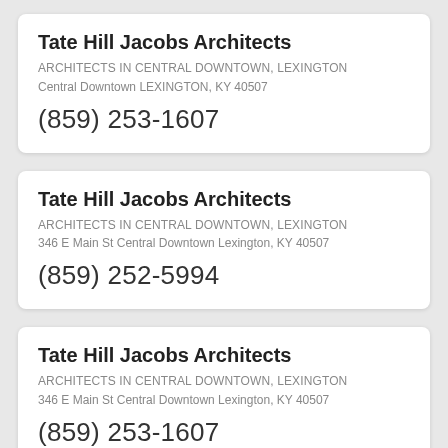Tate Hill Jacobs Architects
ARCHITECTS IN CENTRAL DOWNTOWN, LEXINGTON
Central Downtown LEXINGTON, KY 40507
(859) 253-1607
Tate Hill Jacobs Architects
ARCHITECTS IN CENTRAL DOWNTOWN, LEXINGTON
346 E Main St Central Downtown Lexington, KY 40507
(859) 252-5994
Tate Hill Jacobs Architects
ARCHITECTS IN CENTRAL DOWNTOWN, LEXINGTON
346 E Main St Central Downtown Lexington, KY 40507
(859) 253-1607
Tate Hill Jacobs Architects (partial)